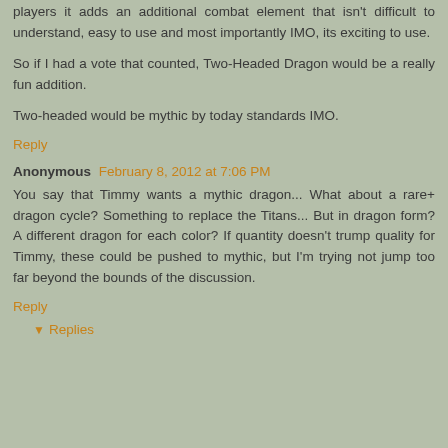players it adds an additional combat element that isn't difficult to understand, easy to use and most importantly IMO, its exciting to use.
So if I had a vote that counted, Two-Headed Dragon would be a really fun addition.
Two-headed would be mythic by today standards IMO.
Reply
Anonymous February 8, 2012 at 7:06 PM
You say that Timmy wants a mythic dragon... What about a rare+ dragon cycle? Something to replace the Titans... But in dragon form? A different dragon for each color? If quantity doesn't trump quality for Timmy, these could be pushed to mythic, but I'm trying not jump too far beyond the bounds of the discussion.
Reply
Replies